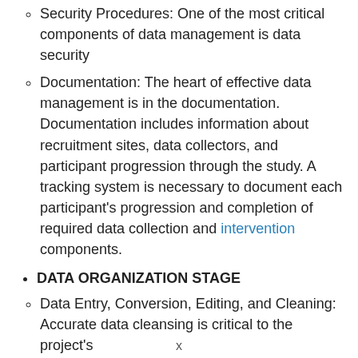Security Procedures: One of the most critical components of data management is data security
Documentation: The heart of effective data management is in the documentation. Documentation includes information about recruitment sites, data collectors, and participant progression through the study. A tracking system is necessary to document each participant's progression and completion of required data collection and intervention components.
DATA ORGANIZATION STAGE
Data Entry, Conversion, Editing, and Cleaning: Accurate data cleansing is critical to the project's
x